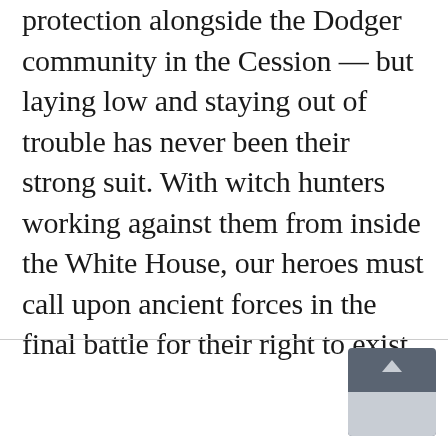protection alongside the Dodger community in the Cession — but laying low and staying out of trouble has never been their strong suit. With witch hunters working against them from inside the White House, our heroes must call upon ancient forces in the final battle for their right to exist.